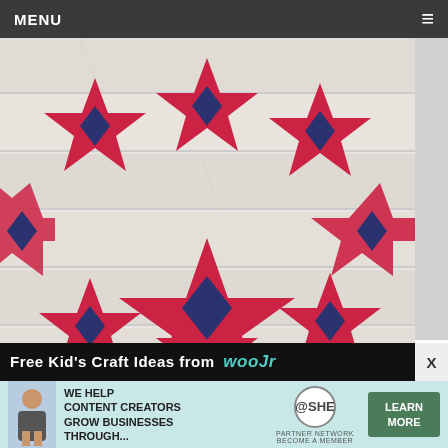MENU
[Figure (photo): A wreath made of red and navy blue paper stars arranged in a circle on a white wooden background]
Free Kid's Craft Ideas from WooJr  Top  X
[Figure (infographic): SHE Partner Network advertisement banner: 'WE HELP CONTENT CREATORS GROW BUSINESSES THROUGH...' with a SHE logo and a LEARN MORE green button, woman with laptop on left]